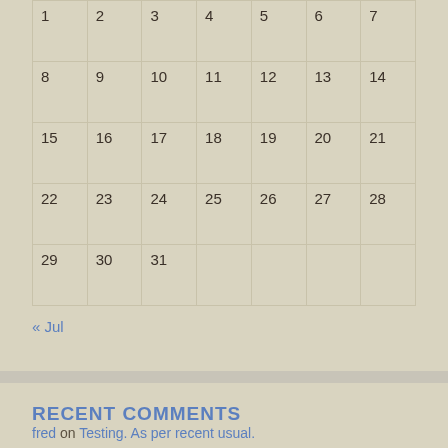| 1 | 2 | 3 | 4 | 5 | 6 | 7 |
| 8 | 9 | 10 | 11 | 12 | 13 | 14 |
| 15 | 16 | 17 | 18 | 19 | 20 | 21 |
| 22 | 23 | 24 | 25 | 26 | 27 | 28 |
| 29 | 30 | 31 |  |  |  |  |
« Jul
RECENT COMMENTS
fred on Testing. As per recent usual.
Bob Stepno on Testing. As per recent usual.